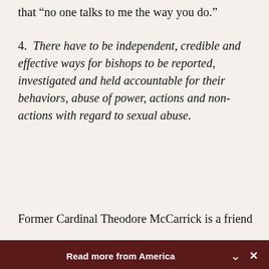that “no one talks to me the way you do.”
4.  There have to be independent, credible and effective ways for bishops to be reported, investigated and held accountable for their behaviors, abuse of power, actions and non-actions with regard to sexual abuse.
Former Cardinal Theodore McCarrick is a friend
Read more from America
[Figure (photo): Photo of Pope Francis meeting with a group of people in a room]
Pope Francis entrusts 3 female saints with new...
Cindy Wooden - Catholic News Service